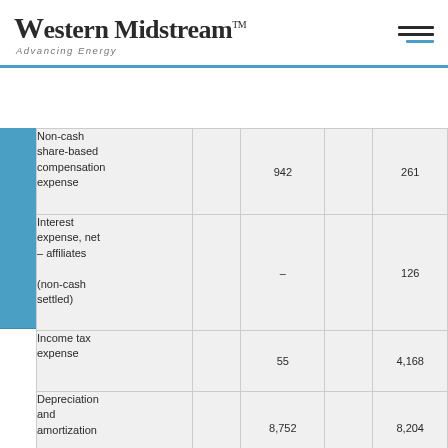Western Midstream™ — Advancing Energy
|  |  |  |  |  |
| --- | --- | --- | --- | --- |
| Non-cash share-based compensation expense |  | 942 |  | 261 |
| Interest expense, net – affiliates

(non-cash settled) |  | – |  | 126 |
| Income tax expense |  | 55 |  | 4,168 |
| Depreciation and amortization |  | 8,752 |  | 8,204 |
| Less: |  |  |  |  |